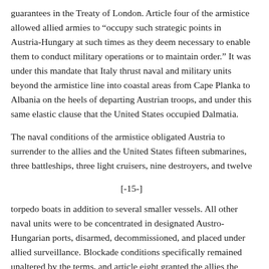guarantees in the Treaty of London. Article four of the armistice allowed allied armies to "occupy such strategic points in Austria-Hungary at such times as they deem necessary to enable them to conduct military operations or to maintain order." It was under this mandate that Italy thrust naval and military units beyond the armistice line into coastal areas from Cape Planka to Albania on the heels of departing Austrian troops, and under this same elastic clause that the United States occupied Dalmatia.
The naval conditions of the armistice obligated Austria to surrender to the allies and the United States fifteen submarines, three battleships, three light cruisers, nine destroyers, and twelve
[-15-]
torpedo boats in addition to several smaller vessels. All other naval units were to be concentrated in designated Austro-Hungarian ports, disarmed, decommissioned, and placed under allied surveillance. Blockade conditions specifically remained unaltered by the terms, and article eight granted the allies the right to occupy the great naval base at Pola together with its fortifications, dockyards, and arsenals. These conditions completely prostrated the Austro-Hungarian navy, which at